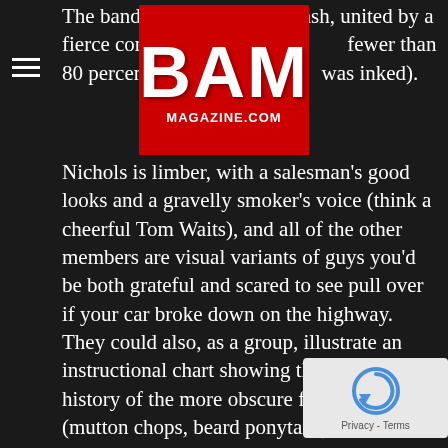[Figure (logo): BAM Magazine logo — red rectangle with white bold text 'BAM' and 'MAGAZINE.COM' below]
The band is a bit of a mishmash, united by a fierce commitment to fewer than 80 percent of non-facial coverage (was inked).
Nichols is limber, with a salesman's good looks and a gravelly smoker's voice (think a cheerful Tom Waits), and all of the other members are visual variants of guys you'd be both grateful and scared to see pull over if your car broke down on the highway. They could also, as a group, illustrate an instructional chart showing the recent history of the more obscure facial hairstyles (mutton chops, beard ponytails).
The set was in two parts – the first, acoustic (or, as Nichols put it, “sad sad songs”), the second, electric. Throughout, Nichols shot whiskey with disingenuous self-effacement.
[Figure (other): reCAPTCHA widget with circular arrow icon and 'Privacy - Terms' text]